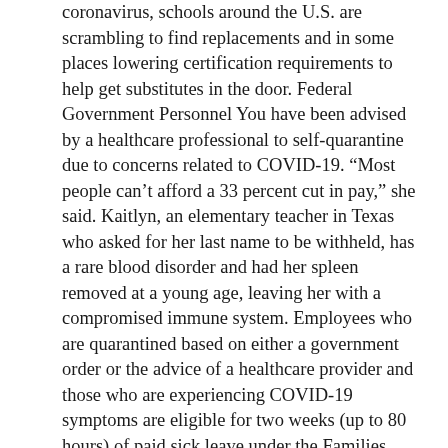coronavirus, schools around the U.S. are scrambling to find replacements and in some places lowering certification requirements to help get substitutes in the door. Federal Government Personnel You have been advised by a healthcare professional to self-quarantine due to concerns related to COVID-19. “Most people can’t afford a 33 percent cut in pay,” she said. Kaitlyn, an elementary teacher in Texas who asked for her last name to be withheld, has a rare blood disorder and had her spleen removed at a young age, leaving her with a compromised immune system. Employees who are quarantined based on either a government order or the advice of a healthcare provider and those who are experiencing COVID-19 symptoms are eligible for two weeks (up to 80 hours) of paid sick leave under the Families First Coronavirus Response Act. This document explains how Statutory Annual Leave Entitlement is to apply when a teacher is absent as a result of long term sickness. Report for America is a nonprofit national service program that places journalists in local newsrooms to report on undercovered issues. You are subject to state, federal or local quarantine or isolation order related to COVID-19. The ADA does not cover employees who live with someone who has a disability or high-risk condition. INDIANAPOLIS (AP) — With